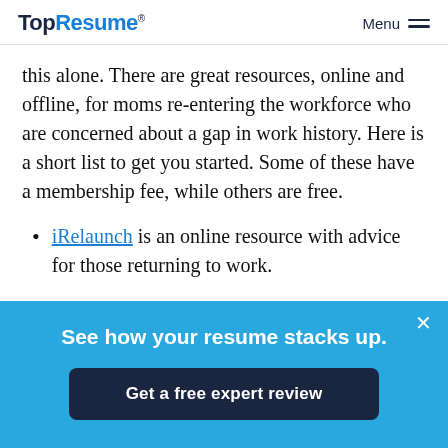TopResume® Menu
this alone. There are great resources, online and offline, for moms re-entering the workforce who are concerned about a gap in work history. Here is a short list to get you started. Some of these have a membership fee, while others are free.
iRelaunch is an online resource with advice for those returning to work.
Corpsteam and Mom Corps is a national staffing
See how your resume stacks up.
Get a free expert review